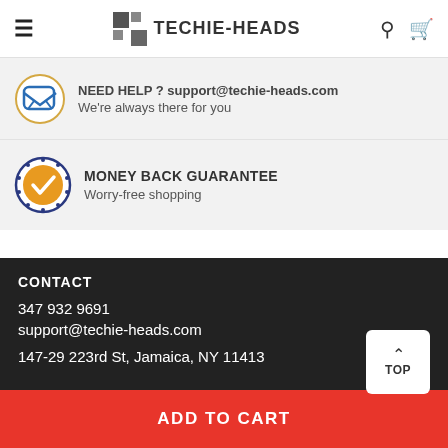TECHIE-HEADS
NEED HELP ? support@techie-heads.com
We're always there for you
MONEY BACK GUARANTEE
Worry-free shopping
CONTACT
347 932 9691
support@techie-heads.com
147-29 223rd St, Jamaica, NY 11413
TOP
ADD TO CART